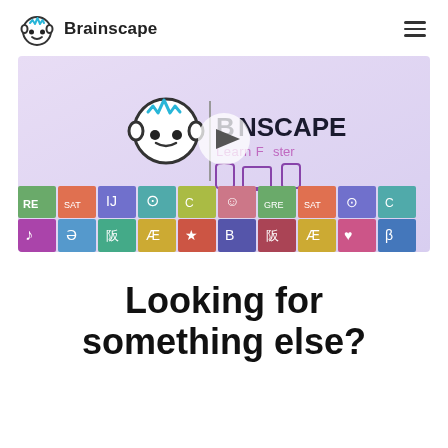Brainscape
[Figure (screenshot): Brainscape app video thumbnail showing the Brainscape logo with a play button overlay and a grid of colorful flashcard deck icons below]
Looking for something else?